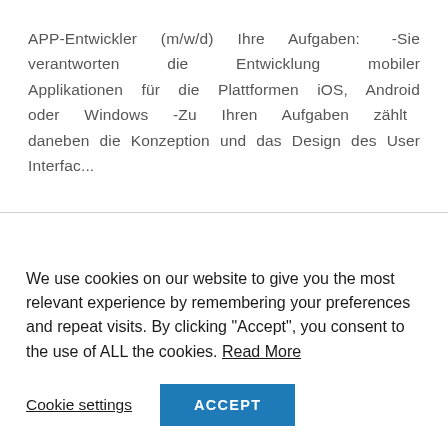APP-Entwickler (m/w/d) Ihre Aufgaben: -Sie verantworten die Entwicklung mobiler Applikationen für die Plattformen iOS, Android oder Windows -Zu Ihren Aufgaben zählt daneben die Konzeption und das Design des User Interfac...
We use cookies on our website to give you the most relevant experience by remembering your preferences and repeat visits. By clicking "Accept", you consent to the use of ALL the cookies. Read More
Cookie settings
ACCEPT